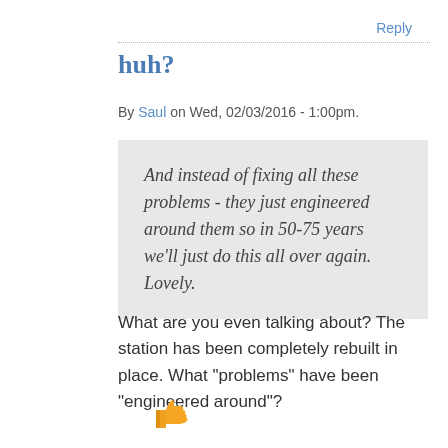Reply
huh?
By Saul on Wed, 02/03/2016 - 1:00pm.
And instead of fixing all these problems - they just engineered around them so in 50-75 years we'll just do this all over again. Lovely.
What are you even talking about? The station has been completely rebuilt in place. What "problems" have been "engineered around"?
[Figure (illustration): Orange thumbs up icon at the bottom of the comment]